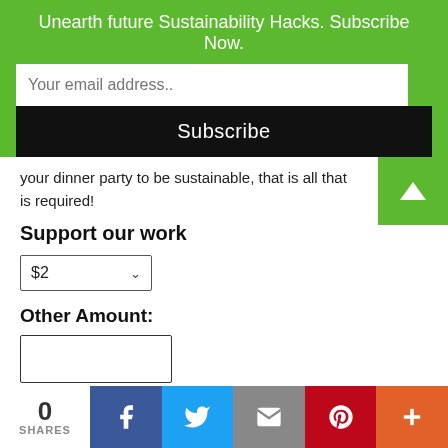Unearth future Sustainability Hacks. Subscribe Now.
Your email address..
Subscribe
your dinner party to be sustainable, that is all that is required!
Support our work
$2
Other Amount:
Sustainability Hackers:
0 SHARES